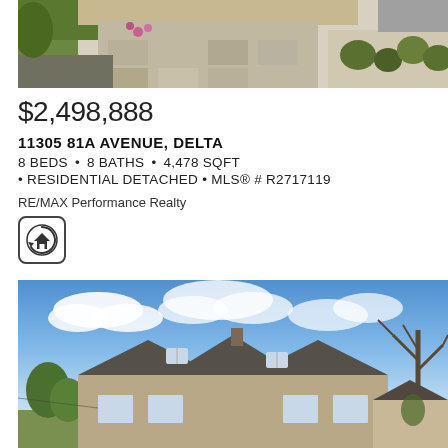[Figure (photo): Exterior photo showing a decorative paver driveway with landscaping, shrubs, and trees in the background]
$2,498,888
11305 81A AVENUE, DELTA
8 BEDS • 8 BATHS • 4,478 SQFT
• RESIDENTIAL DETACHED • MLS® # R2717119
RE/MAX Performance Realty
[Figure (logo): RE/MAX house logo icon in a rounded square border]
[Figure (photo): Exterior front view of a residential detached house with a bare tree on the right, blue sky with clouds in background]